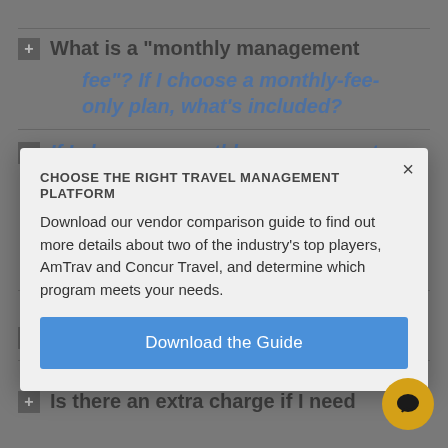What is a "monthly management fee"? If I choose a monthly-fee-only plan, what's included?
If I choose a monthly management fee will it change as my company's business travel grows?
Are there fees to make changes?
Is there an extra charge if I need
[Figure (screenshot): Modal popup overlay on a gray FAQ page. The modal has a headline 'CHOOSE THE RIGHT TRAVEL MANAGEMENT PLATFORM', body text 'Download our vendor comparison guide to find out more details about two of the industry's top players, AmTrav and Concur Travel, and determine which program meets your needs.', and a blue 'Download the Guide' button. An X close button is in the top right corner.]
CHOOSE THE RIGHT TRAVEL MANAGEMENT PLATFORM
Download our vendor comparison guide to find out more details about two of the industry's top players, AmTrav and Concur Travel, and determine which program meets your needs.